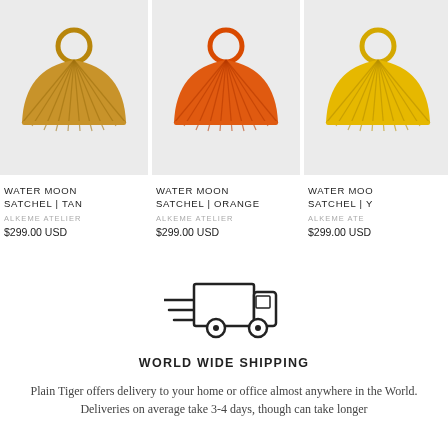[Figure (photo): Water Moon Satchel in Tan color - fan-shaped pleated handbag with circular handle on grey background]
WATER MOON SATCHEL | TAN
ALKEME ATELIER
$299.00 USD
[Figure (photo): Water Moon Satchel in Orange color - fan-shaped pleated handbag with circular handle on grey background]
WATER MOON SATCHEL | ORANGE
ALKEME ATELIER
$299.00 USD
[Figure (photo): Water Moon Satchel in Yellow color - fan-shaped pleated handbag with circular handle on grey background (partially cropped)]
WATER MOO... SATCHEL | Y...
ALKEME ATE...
$299.00 USD
[Figure (illustration): Delivery truck icon with speed lines, outlined in black on white background]
WORLD WIDE SHIPPING
Plain Tiger offers delivery to your home or office almost anywhere in the World. Deliveries on average take 3-4 days, though can take longer